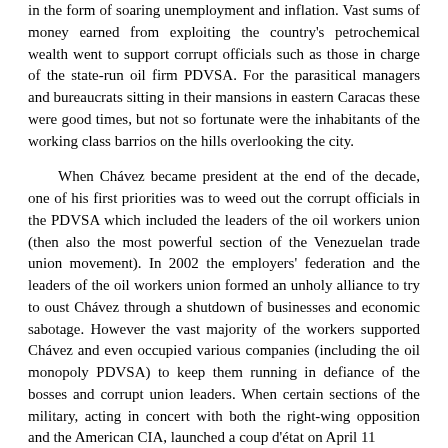in the form of soaring unemployment and inflation. Vast sums of money earned from exploiting the country's petrochemical wealth went to support corrupt officials such as those in charge of the state-run oil firm PDVSA. For the parasitical managers and bureaucrats sitting in their mansions in eastern Caracas these were good times, but not so fortunate were the inhabitants of the working class barrios on the hills overlooking the city.
When Chávez became president at the end of the decade, one of his first priorities was to weed out the corrupt officials in the PDVSA which included the leaders of the oil workers union (then also the most powerful section of the Venezuelan trade union movement). In 2002 the employers' federation and the leaders of the oil workers union formed an unholy alliance to try to oust Chávez through a shutdown of businesses and economic sabotage. However the vast majority of the workers supported Chávez and even occupied various companies (including the oil monopoly PDVSA) to keep them running in defiance of the bosses and corrupt union leaders. When certain sections of the military, acting in concert with both the right-wing opposition and the American CIA, launched a coup d'état on April 11
2002 and took Chávez prisoner after surrounding the